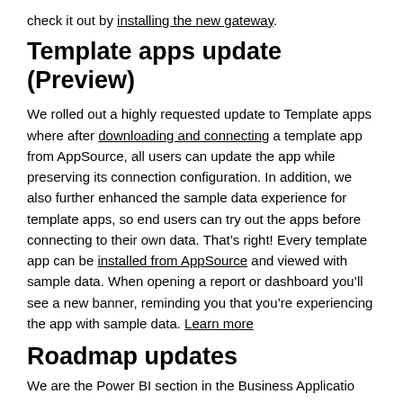check it out by installing the new gateway.
Template apps update (Preview)
We rolled out a highly requested update to Template apps where after downloading and connecting a template app from AppSource, all users can update the app while preserving its connection configuration. In addition, we also further enhanced the sample data experience for template apps, so end users can try out the apps before connecting to their own data. That’s right! Every template app can be installed from AppSource and viewed with sample data. When opening a report or dashboard you’ll see a new banner, reminding you that you’re experiencing the app with sample data. Learn more
Roadmap updates
We are the Power BI section in the Business Application...